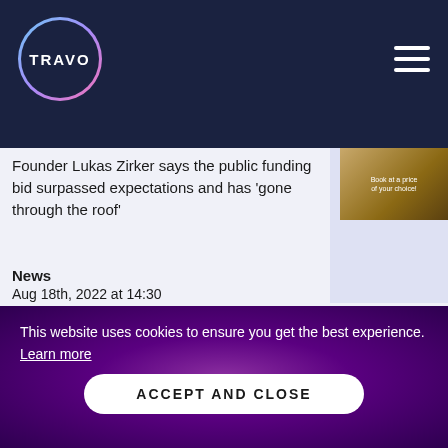[Figure (logo): Travo logo: white circle outline with gradient (blue to pink), white text 'TRAVO' inside, on dark navy header bar]
TRAVO [navigation header with hamburger menu]
Founder Lukas Zirker says the public funding bid surpassed expectations and has 'gone through the roof'
News
Aug 18th, 2022 at 14:30
TRAVOLUTION ALERTS
This website uses cookies to ensure you get the best experience.
Learn more
ACCEPT AND CLOSE